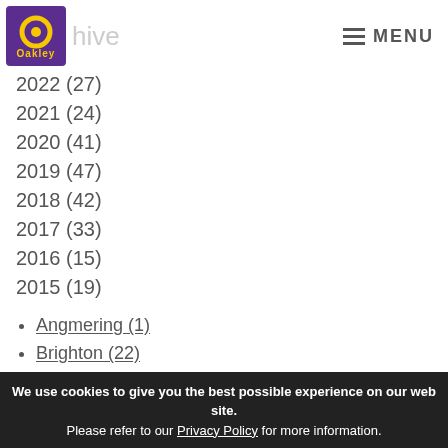Oakley — Archive — MENU
2022 (27)
2021 (24)
2020 (41)
2019 (47)
2018 (42)
2017 (33)
2016 (15)
2015 (19)
Angmering (1)
Brighton (22)
Career Opportunities (1)
Charity (1)
Commercial property (15)
Family living (24)
Featured (8)
Hove (...)
We use cookies to give you the best possible experience on our web site. Please refer to our Privacy Policy for more information.